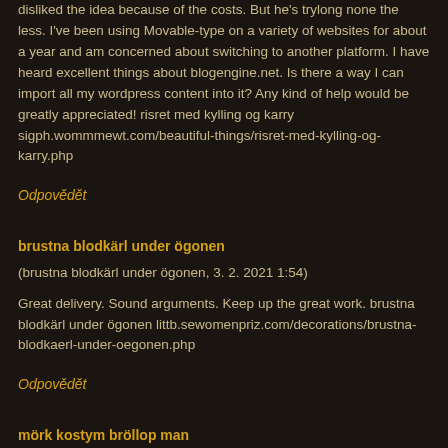disliked the idea because of the costs. But he's trylong none the less. I've been using Movable-type on a variety of websites for about a year and am concerned about switching to another platform. I have heard excellent things about blogengine.net. Is there a way I can import all my wordpress content into it? Any kind of help would be greatly appreciated! risret med kylling og karry sigph.wommmewt.com/beautiful-things/risret-med-kylling-og-karry.php
Odpovědět
brustna blodk&auml;rl under &ouml;gonen
(brustna blodk&auml;rl under &ouml;gonen, 3. 2. 2021 1:54)
Great delivery. Sound arguments. Keep up the great work. brustna blodk&auml;rl under &ouml;gonen littb.sewomenpriz.com/decorations/brustna-blodkaerl-under-oegonen.php
Odpovědět
m&ouml;rk kostym br&ouml;llop man
(m&ouml;rk kostym br&ouml;llop man, 2. 2. 2021 20:56)
I'd like to find out more? I'd care to find out more details. m&ouml;rk kostym